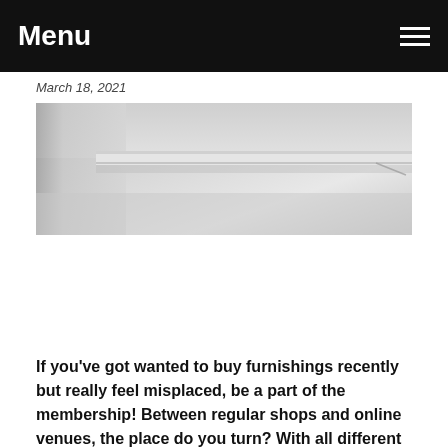Menu
March 18, 2021
[Figure (photo): Interior photograph showing a white modern room with minimalist white walls, ceiling, and a faint horizontal line detail. Light and shadow create a clean, architectural composition.]
If you've got wanted to buy furnishings recently but really feel misplaced, be a part of the membership! Between regular shops and online venues, the place do you turn? With all different costs and varieties of furniture along with newer choices being introduced, it